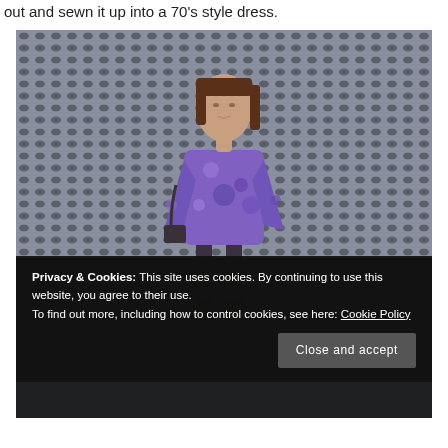out and sewn it up into a 70's style dress.
[Figure (photo): A woman wearing a purple floral 70s-style dress with long sleeves and knee-high boots, standing in front of a perforated metal wall background.]
Privacy & Cookies: This site uses cookies. By continuing to use this website, you agree to their use.
To find out more, including how to control cookies, see here: Cookie Policy
Close and accept